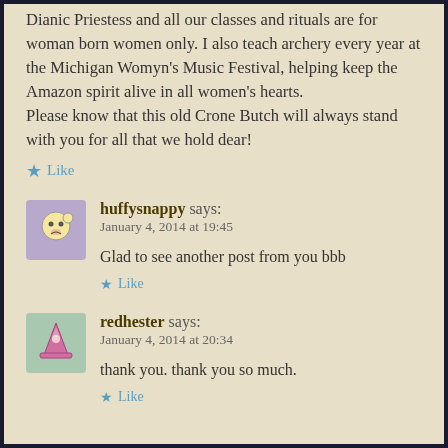Dianic Priestess and all our classes and rituals are for woman born women only. I also teach archery every year at the Michigan Womyn's Music Festival, helping keep the Amazon spirit alive in all women's hearts.
Please know that this old Crone Butch will always stand with you for all that we hold dear!
★ Like
huffysnappy says:
January 4, 2014 at 19:45
Glad to see another post from you bbb
★ Like
redhester says:
January 4, 2014 at 20:34
thank you. thank you so much.
★ Like